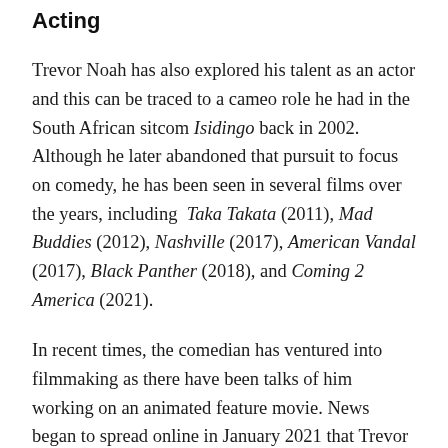Acting
Trevor Noah has also explored his talent as an actor and this can be traced to a cameo role he had in the South African sitcom Isidingo back in 2002. Although he later abandoned that pursuit to focus on comedy, he has been seen in several films over the years, including Taka Takata (2011), Mad Buddies (2012), Nashville (2017), American Vandal (2017), Black Panther (2018), and Coming 2 America (2021).
In recent times, the comedian has ventured into filmmaking as there have been talks of him working on an animated feature movie. News began to spread online in January 2021 that Trevor Noah would be partnering with Paramount Animations to